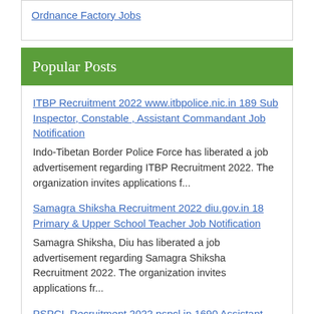Ordnance Factory Jobs
Popular Posts
ITBP Recruitment 2022 www.itbpolice.nic.in 189 Sub Inspector, Constable , Assistant Commandant Job Notification
Indo-Tibetan Border Police Force has liberated a job advertisement regarding ITBP Recruitment 2022. The organization invites applications f...
Samagra Shiksha Recruitment 2022 diu.gov.in 18 Primary & Upper School Teacher Job Notification
Samagra Shiksha, Diu has liberated a job advertisement regarding Samagra Shiksha Recruitment 2022. The organization invites applications fr...
PSPCL Recruitment 2022 pspcl.in 1690 Assistant Lineman Job Notification
Punjab State Power Corporation Limited has liberated a job advertisement regarding PSPCL Recruitment 2022. The organization invites applica...
SBI Recruitment 2022 www.sbi.co.in 714 Specialist Cadre Officer Job